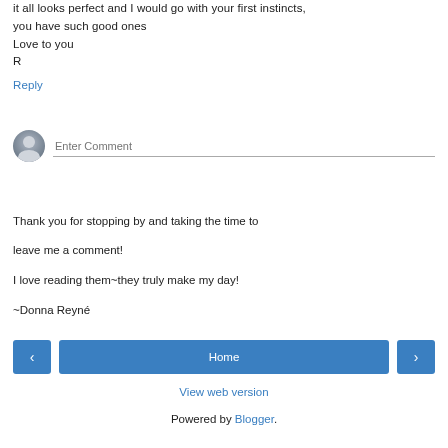it all looks perfect and I would go with your first instincts, you have such good ones
Love to you
R
Reply
[Figure (other): User avatar icon with comment input field placeholder text 'Enter Comment']
Thank you for stopping by and taking the time to leave me a comment!
I love reading them~they truly make my day!
~Donna Reyné
< Home >
View web version
Powered by Blogger.